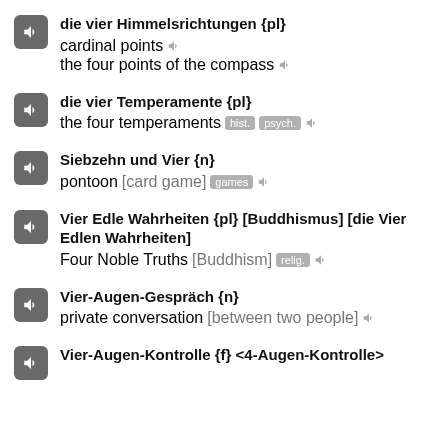die vier Himmelsrichtungen {pl} / cardinal points / the four points of the compass
die vier Temperamente {pl} / the four temperaments [hist.] [psych.]
Siebzehn und Vier {n} / pontoon [card game] [games]
Vier Edle Wahrheiten {pl} [Buddhismus] [die Vier Edlen Wahrheiten] / Four Noble Truths [Buddhism] [relig.]
Vier-Augen-Gespräch {n} / private conversation [between two people]
Vier-Augen-Kontrolle {f} <4-Augen-Kontrolle>